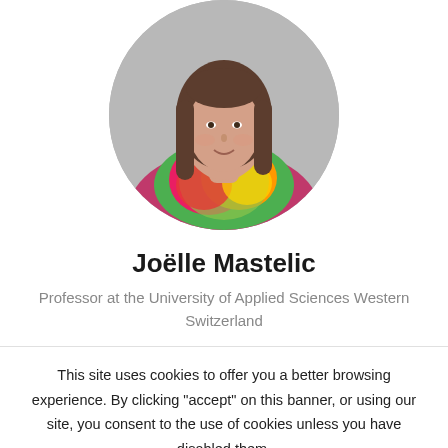[Figure (photo): Circular cropped professional headshot of Joëlle Mastelic, a woman with long brown hair wearing a colorful floral scarf and pink top, photographed against a grey background.]
Joëlle Mastelic
Professor at the University of Applied Sciences Western Switzerland
This site uses cookies to offer you a better browsing experience. By clicking "accept" on this banner, or using our site, you consent to the use of cookies unless you have disabled them.
Cookie settings
ACCEPT